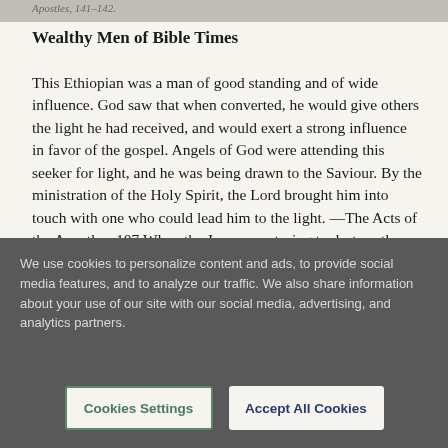Apostles, 141–142.
Wealthy Men of Bible Times
This Ethiopian was a man of good standing and of wide influence. God saw that when converted, he would give others the light he had received, and would exert a strong influence in favor of the gospel. Angels of God were attending this seeker for light, and he was being drawn to the Saviour. By the ministration of the Holy Spirit, the Lord brought him into touch with one who could lead him to the light. —The Acts of the Apostles, 107.When the Jews were trying to destroy the infant church, Nicodemus came
We use cookies to personalize content and ads, to provide social media features, and to analyze our traffic. We also share information about your use of our site with our social media, advertising, and analytics partners.
Cookies Settings
Accept All Cookies